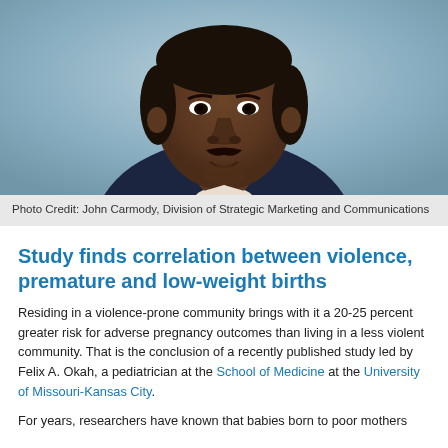[Figure (photo): Headshot portrait of Felix A. Okah, a man in a suit, against a blue-grey background]
Photo Credit: John Carmody, Division of Strategic Marketing and Communications
Study finds correlation between violence, premature and low-weight births
Residing in a violence-prone community brings with it a 20-25 percent greater risk for adverse pregnancy outcomes than living in a less violent community. That is the conclusion of a recently published study led by Felix A. Okah, a pediatrician at the School of Medicine at the University of Missouri-Kansas City.
For years, researchers have known that babies born to poor mothers